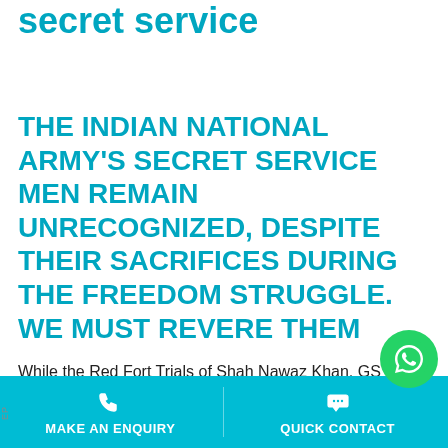The secrets of Netaji's secret service
THE INDIAN NATIONAL ARMY'S SECRET SERVICE MEN REMAIN UNRECOGNIZED, DESPITE THEIR SACRIFICES DURING THE FREEDOM STRUGGLE. WE MUST REVERE THEM
While the Red Fort Trials of Shah Nawaz Khan, GS Dhillon and Prem Sahgal are widely known, the massive se…
[Figure (other): WhatsApp contact button (green circle with phone icon)]
MAKE AN ENQUIRY | QUICK CONTACT